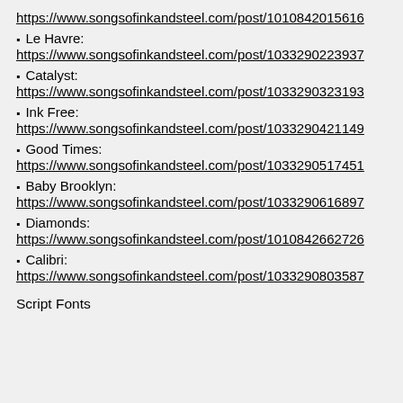https://www.songsofinkandsteel.com/post/1010842015616
Le Havre: https://www.songsofinkandsteel.com/post/1033290223937
Catalyst: https://www.songsofinkandsteel.com/post/1033290323193
Ink Free: https://www.songsofinkandsteel.com/post/1033290421149
Good Times: https://www.songsofinkandsteel.com/post/1033290517451
Baby Brooklyn: https://www.songsofinkandsteel.com/post/1033290616897
Diamonds: https://www.songsofinkandsteel.com/post/1010842662726
Calibri: https://www.songsofinkandsteel.com/post/1033290803587
Script Fonts